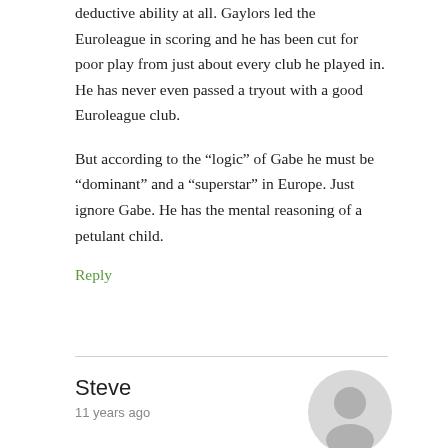deductive ability at all. Gaylors led the Euroleague in scoring and he has been cut for poor play from just about every club he played in. He has never even passed a tryout with a good Euroleague club.
But according to the “logic” of Gabe he must be “dominant” and a “superstar” in Europe. Just ignore Gabe. He has the mental reasoning of a petulant child.
Reply
Steve
11 years ago